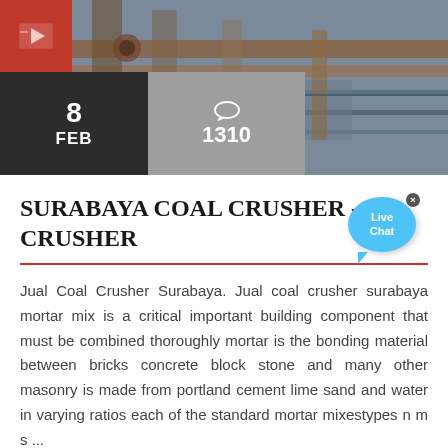[Figure (photo): Industrial machinery photo with date overlay showing 8 FEB and comment count 1310]
SURABAYA COAL CRUSHER - CRUSHER
Jual Coal Crusher Surabaya. Jual coal crusher surabaya mortar mix is a critical important building component that must be combined thoroughly mortar is the bonding material between bricks concrete block stone and many other masonry is made from portland cement lime sand and water in varying ratios each of the standard mortar mixestypes n m s ...
[Figure (photo): Industrial machinery second image at bottom of page]